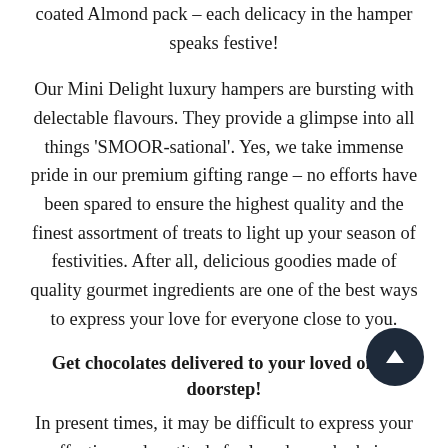coated Almond pack – each delicacy in the hamper speaks festive!
Our Mini Delight luxury hampers are bursting with delectable flavours. They provide a glimpse into all things 'SMOOR-sational'. Yes, we take immense pride in our premium gifting range – no efforts have been spared to ensure the highest quality and the finest assortment of treats to light up your season of festivities. After all, delicious goodies made of quality gourmet ingredients are one of the best ways to express your love for everyone close to you.
Get chocolates delivered to your loved ones' doorstep!
In present times, it may be difficult to express your affection and gratitude for loved ones by being there physically. With SMOOR, you can surprise them with the sweetest of gestures – gift them our sumptuous luxury hampers